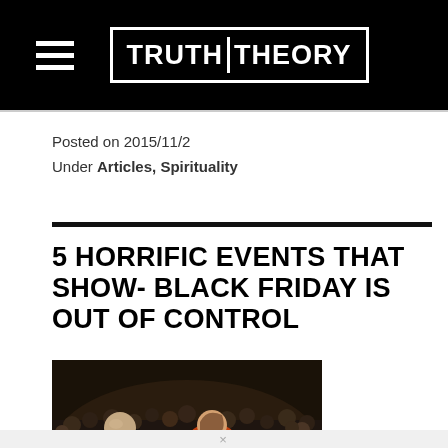TRUTH THEORY
Posted on 2015/11/2
Under Articles, Spirituality
5 HORRIFIC EVENTS THAT SHOW- BLACK FRIDAY IS OUT OF CONTROL
[Figure (photo): A crowded Black Friday scene showing people fighting or pushing in a crowd outside a store at night.]